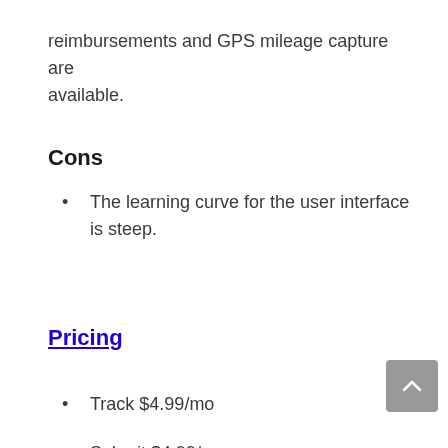reimbursements and GPS mileage capture are available.
Cons
The learning curve for the user interface is steep.
Pricing
Track $4.99/mo
Submit $4.99/mo